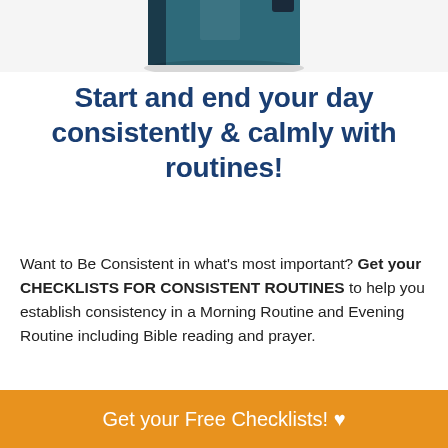[Figure (illustration): Partial view of a book or binder with dark blue/green cover, cropped at the top of the page]
Start and end your day consistently & calmly with routines!
Want to Be Consistent in what's most important? Get your CHECKLISTS FOR CONSISTENT ROUTINES to help you establish consistency in a Morning Routine and Evening Routine including Bible reading and prayer.
Get your Free Checklists! ♥